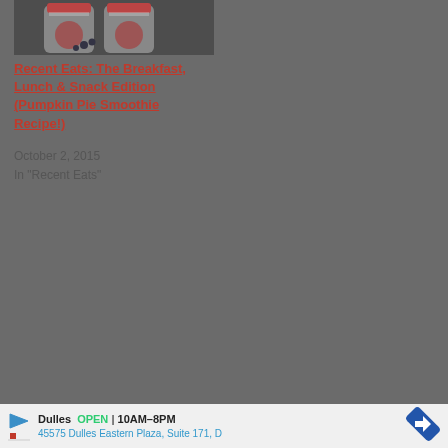[Figure (photo): Photo of smoothie/yogurt containers (Pumpkin Pie Smoothie), partially cropped at top of page]
Recent Eats: The Breakfast, Lunch & Snack Edition (Pumpkin Pie Smoothie Recipe!)
October 2, 2015
In "Recent Eats"
[Figure (infographic): Advertisement bar: Dulles OPEN 10AM-8PM, 45575 Dulles Eastern Plaza, Suite 171, D]